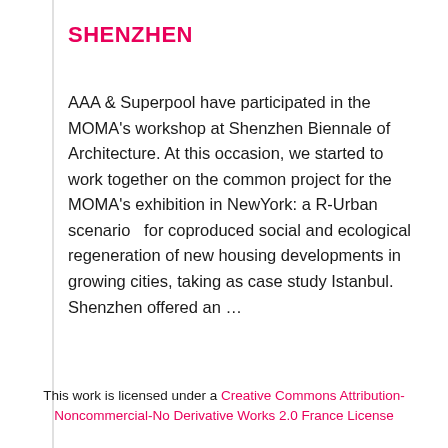SHENZHEN
AAA & Superpool have participated in the MOMA's workshop at Shenzhen Biennale of Architecture. At this occasion, we started to work together on the common project for the MOMA's exhibition in NewYork: a R-Urban scenario  for coproduced social and ecological regeneration of new housing developments in growing cities, taking as case study Istanbul.   Shenzhen offered an …
This work is licensed under a Creative Commons Attribution-Noncommercial-No Derivative Works 2.0 France License